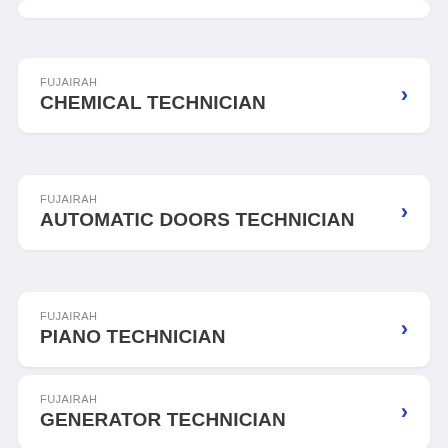FUJAIRAH – CHEMICAL TECHNICIAN
FUJAIRAH – AUTOMATIC DOORS TECHNICIAN
FUJAIRAH – PIANO TECHNICIAN
FUJAIRAH – GENERATOR TECHNICIAN